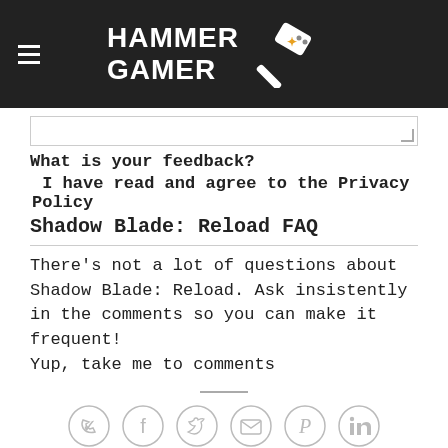HAMMER GAMER
[Figure (screenshot): Textarea input stub at top of content area]
What is your feedback?
I have read and agree to the Privacy Policy
Shadow Blade: Reload FAQ
There's not a lot of questions about Shadow Blade: Reload. Ask insistently in the comments so you can make it frequent!
Yup, take me to comments
[Figure (infographic): Social sharing icons row: WhatsApp, Facebook, Twitter, Email, Pinterest, LinkedIn — all in circular grey outlines]
This entry was posted in Games for Playstation 4. Bookmark the